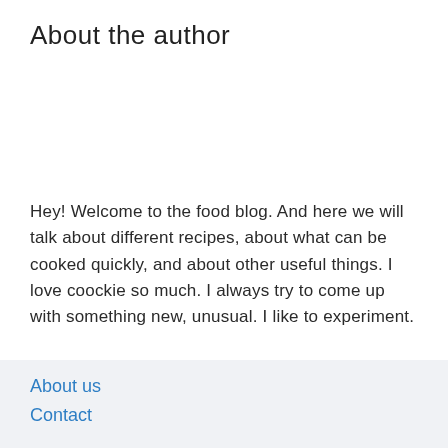About the author
Hey! Welcome to the food blog. And here we will talk about different recipes, about what can be cooked quickly, and about other useful things. I love coockie so much. I always try to come up with something new, unusual. I like to experiment.
About us
Contact